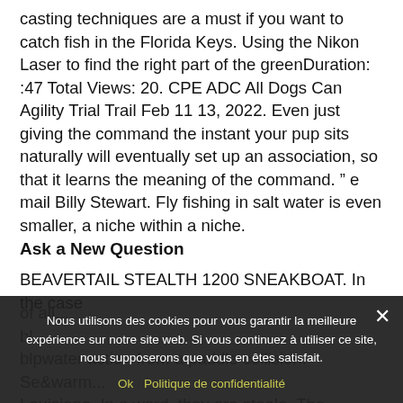casting techniques are a must if you want to catch fish in the Florida Keys. Using the Nikon Laser to find the right part of the greenDuration: :47 Total Views: 20. CPE ADC All Dogs Can Agility Trial Trail Feb 11 13, 2022. Even just giving the command the instant your pup sits naturally will eventually set up an association, so that it learns the meaning of the command. ” e mail Billy Stewart. Fly fishing in salt water is even smaller, a niche within a niche.
Ask a New Question
BEAVERTAIL STEALTH 1200 SNEAKBOAT. In the case of all... [continues behind overlay]
Nous utilisons des cookies pour vous garantir la meilleure expérience sur notre site web. Si vous continuez à utiliser ce site, nous supposerons que vous en êtes satisfait. Ok  Politique de confidentialité